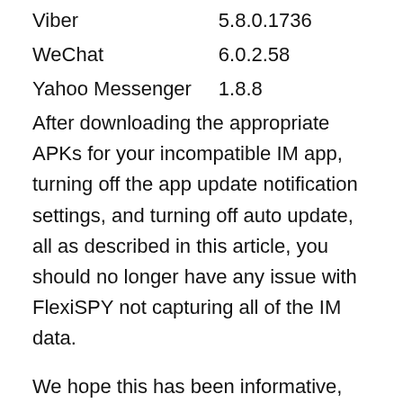| Viber | 5.8.0.1736 |
| WeChat | 6.0.2.58 |
| Yahoo Messenger | 1.8.8 |
After downloading the appropriate APKs for your incompatible IM app, turning off the app update notification settings, and turning off auto update, all as described in this article, you should no longer have any issue with FlexiSPY not capturing all of the IM data.
We hope this has been informative, but if you have any questions about the content in this post please comment below and we'll be